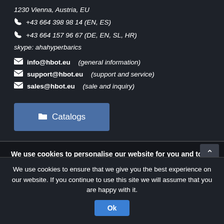1230 Vienna, Austria, EU
+43 664 398 98 14 (EN, ES)
+43 664 157 96 67 (DE, EN, SL, HR)
skype: ahahyperbarics
info@hbot.eu (general information)
support@hbot.eu (support and service)
sales@hbot.eu (sale and inquiry)
[Figure (other): Blue 'Catalogs' button with folder icon]
We use cookies to personalise our website for you and to analyse how our website is being used. You give us your permission to do so, by clicking on the “I agree” button or by continuing to use our website after you have received the cookie notification. You will find further information on...
We use cookies to ensure that we give you the best experience on our website. If you continue to use this site we will assume that you are happy with it.